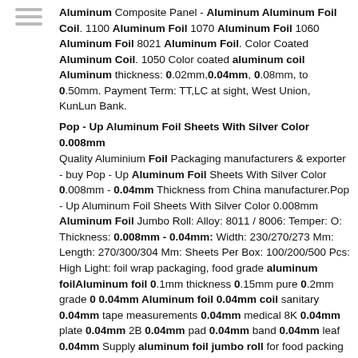Aluminum Composite Panel - Aluminum Aluminum Foil Coil. 1100 Aluminum Foil 1070 Aluminum Foil 1060 Aluminum Foil 8021 Aluminum Foil. Color Coated Aluminum Coil. 1050 Color coated aluminum coil Aluminum thickness: 0.02mm,0.04mm, 0.08mm, to 0.50mm. Payment Term: TT,LC at sight, West Union, KunLun Bank.
Pop - Up Aluminum Foil Sheets With Silver Color 0.008mm
Quality Aluminium Foil Packaging manufacturers & exporter - buy Pop - Up Aluminum Foil Sheets With Silver Color 0.008mm - 0.04mm Thickness from China manufacturer.Pop - Up Aluminum Foil Sheets With Silver Color 0.008mm Aluminum Foil Jumbo Roll: Alloy: 8011 / 8006: Temper: O: Thickness: 0.008mm - 0.04mm: Width: 230/270/273 Mm: Length: 270/300/304 Mm: Sheets Per Box: 100/200/500 Pcs: High Light: foil wrap packaging, food grade aluminum foilAluminum foil 0.1mm thickness 0.15mm pure 0.2mm grade 0 0.04mm Aluminum foil 0.04mm coil sanitary 0.04mm tape measurements 0.04mm medical 8K 0.04mm plate 0.04mm 2B 0.04mm pad 0.04mm band 0.04mm leaf 0.04mm Supply aluminum foil jumbo roll for food packing Due to perfect anti-moister, anti-pollution and electrical conductor characteristics with blare feature, the aluminum foil has been available for packing field, capacitor making field, construction field, ornament field, printing field and household packing, the main products of our